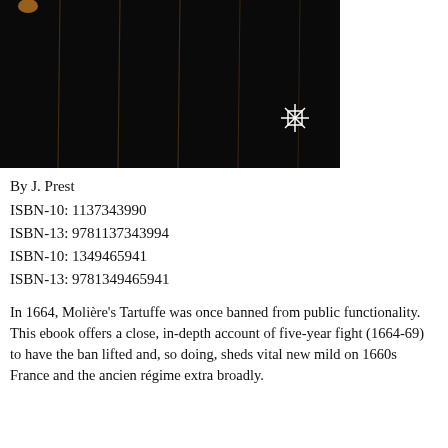[Figure (photo): Dark photograph showing vertical strings or lines against a black background, with a small white asterisk/snowflake-like symbol in the lower right area of the image.]
By J. Prest
ISBN-10: 1137343990
ISBN-13: 9781137343994
ISBN-10: 1349465941
ISBN-13: 9781349465941
In 1664, Molière's Tartuffe was once banned from public functionality. This ebook offers a close, in-depth account of five-year fight (1664-69) to have the ban lifted and, so doing, sheds vital new mild on 1660s France and the ancien régime extra broadly.